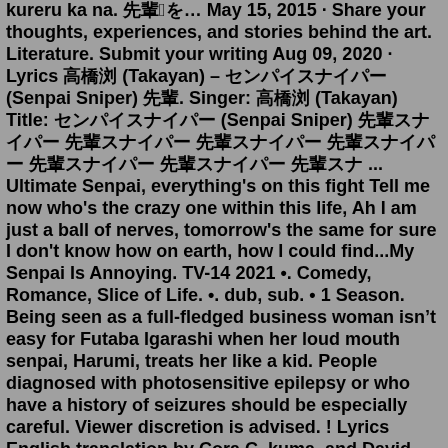kureru ka na. 先輩のFを... May 15, 2015 · Share your thoughts, experiences, and stories behind the art. Literature. Submit your writing Aug 09, 2020 · Lyrics 高橋楓 (Takayan) – センパイスナイパー (Senpai Sniper) 先輩. Singer: 高橋楓 (Takayan) Title: センパイスナイパー (Senpai Sniper) 先輩スナイパー 先輩スナイパー 先輩スナイパー 先輩スナイパー 先輩スナイパー 先輩スナイパー ... Ultimate Senpai, everything's on this fight Tell me now who's the crazy one within this life, Ah I am just a ball of nerves, tomorrow's the same for sure I don't know how on earth, how I could find...My Senpai Is Annoying. TV-14 2021 •. Comedy, Romance, Slice of Life. •. dub, sub. • 1 Season. Being seen as a full-fledged business woman isn't easy for Futaba Igarashi when her loud mouth senpai, Harumi, treats her like a kid. People diagnosed with photosensitive epilepsy or who have a history of seizures should be especially careful. Viewer discretion is advised. ! Lyrics English translation by Cora C, kuma, and David Ralph ( checked and approved by Damesukekun) Discography This song was featured on the following albums: センパイスナイパー 先輩 (LOVE)